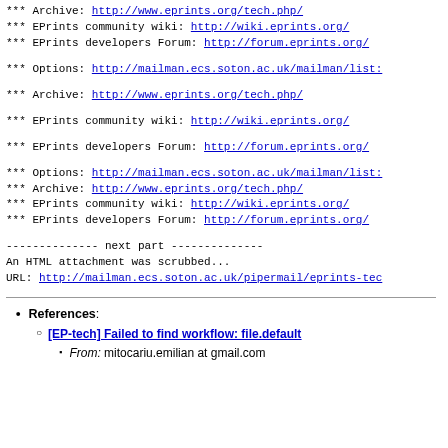*** Archive: http://www.eprints.org/tech.php/
*** EPrints community wiki: http://wiki.eprints.org/
*** EPrints developers Forum: http://forum.eprints.org/
*** Options: http://mailman.ecs.soton.ac.uk/mailman/list:
*** Archive: http://www.eprints.org/tech.php/
*** EPrints community wiki: http://wiki.eprints.org/
*** EPrints developers Forum: http://forum.eprints.org/
*** Options: http://mailman.ecs.soton.ac.uk/mailman/list:
*** Archive: http://www.eprints.org/tech.php/
*** EPrints community wiki: http://wiki.eprints.org/
*** EPrints developers Forum: http://forum.eprints.org/
-------------- next part --------------
An HTML attachment was scrubbed...
URL: http://mailman.ecs.soton.ac.uk/pipermail/eprints-tec
References:
  [EP-tech] Failed to find workflow: file.default
    From: mitocariu.emilian at gmail.com